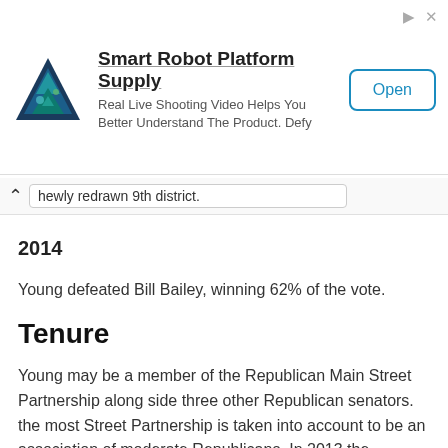[Figure (illustration): Advertisement banner for Smart Robot Platform Supply with a blue triangle/robot logo, text 'Smart Robot Platform Supply', subtitle 'Real Live Shooting Video Helps You Better Understand The Product. Defy', and an 'Open' button.]
newly redrawn 9th district.
2014
Young defeated Bill Bailey, winning 62% of the vote.
Tenure
Young may be a member of the Republican Main Street Partnership along side three other Republican senators. the most Street Partnership is taken into account to be an association of moderate Republicans. In 2013 the National Journal gave Young an overall composite rating of 60% conservative and 31% liberal...